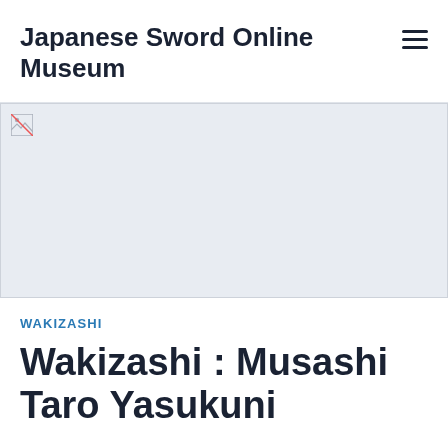Japanese Sword Online Museum
[Figure (photo): Hero image placeholder (broken image icon visible), light blue-grey background, full width banner area]
WAKIZASHI
Wakizashi : Musashi Taro Yasukuni